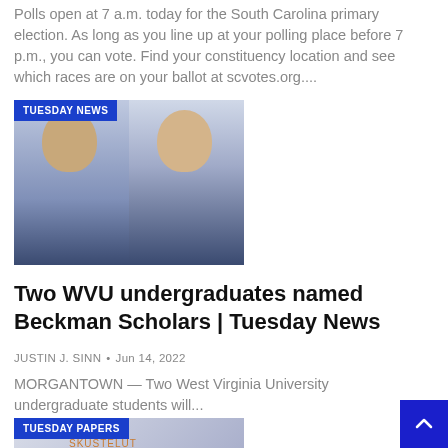Polls open at 7 a.m. today for the South Carolina primary election. As long as you line up at your polling place before 7 p.m., you can vote. Find your constituency location and see which races are on your ballot at scvotes.org....
[Figure (photo): Two WVU undergraduate students side by side, with a 'TUESDAY NEWS' badge overlay in blue]
Two WVU undergraduates named Beckman Scholars | Tuesday News
JUSTIN J. SINN • Jun 14, 2022
MORGANTOWN — Two West Virginia University undergraduate students will...
[Figure (photo): Partial image showing a speaker at a podium with 'Mäntäranta KESKUSTELUT' text visible, with a 'TUESDAY PAPERS' badge overlay in blue]